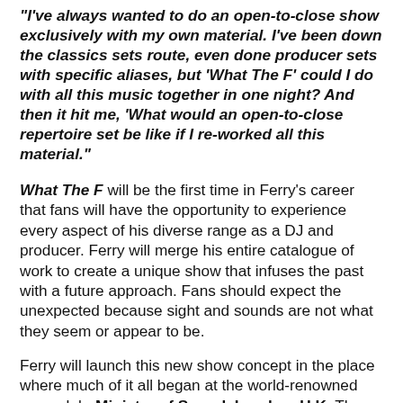“I’ve always wanted to do an open-to-close show exclusively with my own material. I’ve been down the classics sets route, even done producer sets with specific aliases, but ‘What The F’ could I do with all this music together in one night? And then it hit me, ‘What would an open-to-close repertoire set be like if I re-worked all this material.”
What The F will be the first time in Ferry’s career that fans will have the opportunity to experience every aspect of his diverse range as a DJ and producer. Ferry will merge his entire catalogue of work to create a unique show that infuses the past with a future approach. Fans should expect the unexpected because sight and sounds are not what they seem or appear to be.
Ferry will launch this new show concept in the place where much of it all began at the world-renowned superclub, Ministry of Sound, London, U.K. The iconic record label and club played a pivotal role at the beginning